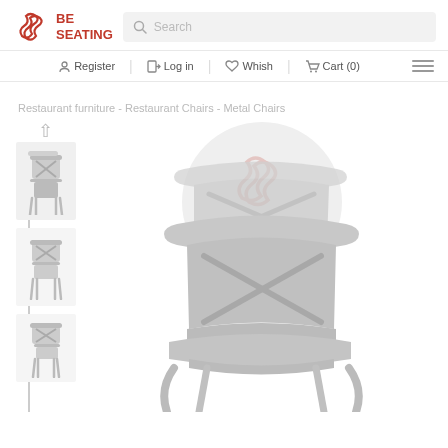BE SEATING
Search
Register  Log in  Whish  Cart (0)
Restaurant furniture - Restaurant Chairs - Metal Chairs
[Figure (photo): Cross-back restaurant chairs stacked, shown in grey/white finish. Thumbnail column on left shows multiple views. Main large image shows stacked chairs from the front.]